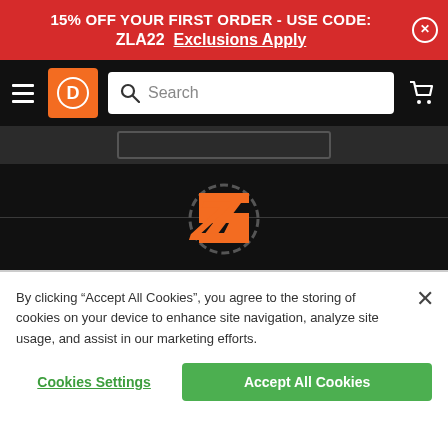15% OFF YOUR FIRST ORDER - USE CODE: ZLA22  Exclusions Apply
[Figure (screenshot): Website navigation bar with hamburger menu, orange logo icon, search bar, and cart icon on dark background]
[Figure (logo): ZLA brand logo - orange lightning bolt Z with circular gear on dark background]
By clicking “Accept All Cookies”, you agree to the storing of cookies on your device to enhance site navigation, analyze site usage, and assist in our marketing efforts.
Cookies Settings
Accept All Cookies